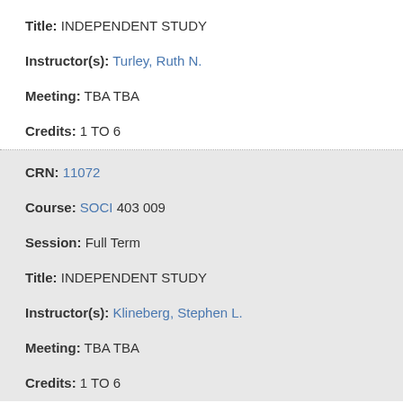Title: INDEPENDENT STUDY
Instructor(s): Turley, Ruth N.
Meeting: TBA TBA
Credits: 1 TO 6
CRN: 11072
Course: SOCI 403 009
Session: Full Term
Title: INDEPENDENT STUDY
Instructor(s): Klineberg, Stephen L.
Meeting: TBA TBA
Credits: 1 TO 6